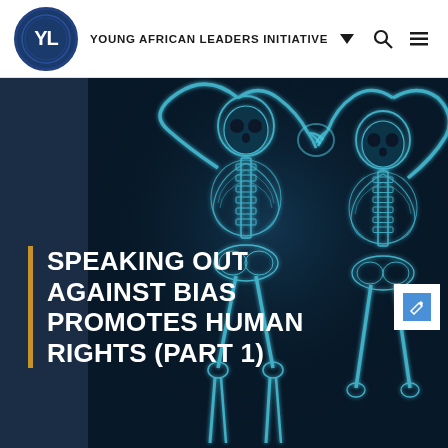YOUNG AFRICAN LEADERS INITIATIVE
[Figure (photo): X-ray style image of two skeletons forming a heart shape with their arms against a dark background, with a dark navy panel on the left side. White bold text overlay reads: SPEAKING OUT AGAINST BIAS PROMOTES HUMAN RIGHTS (PART 1)]
SPEAKING OUT AGAINST BIAS PROMOTES HUMAN RIGHTS (PART 1)